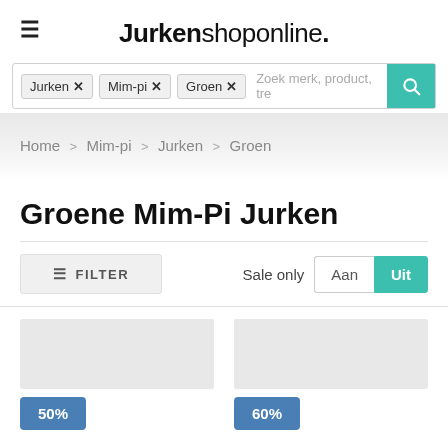Jurkenshoponline.
Jurken × Mim-pi × Groen × Zoek merk, product, tre
Home > Mim-pi > Jurken > Groen
Groene Mim-Pi Jurken
≡ FILTER   Sale only  Aan  Uit
50%
60%